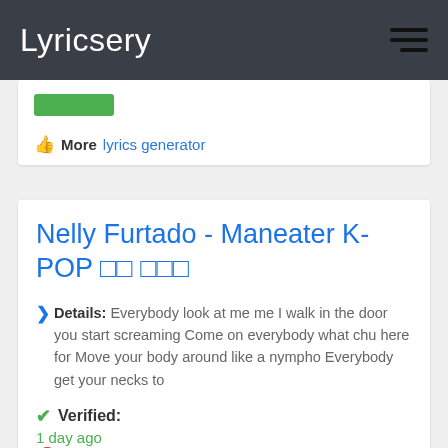Lyricsery
More  lyrics generator
Nelly Furtado - Maneater K-POP □□ □□□
Details: Everybody look at me me I walk in the door you start screaming Come on everybody what chu here for Move your body around like a nympho Everybody get your necks to
Verified:
1 day ago